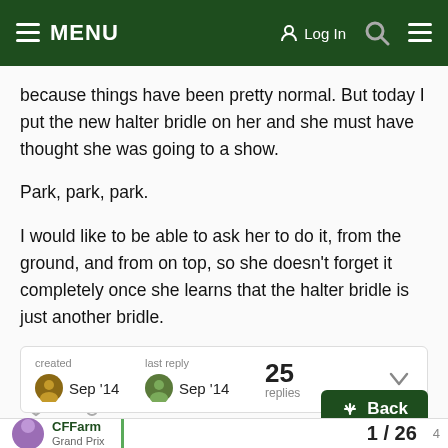MENU  Log In
because things have been pretty normal. But today I put the new halter bridle on her and she must have thought she was going to a show.
Park, park, park.
I would like to be able to ask her to do it, from the ground, and from on top, so she doesn't forget it completely once she learns that the halter bridle is just another bridle.
Thanks for the help!
created  Sep '14    last reply  Sep '14    25 replies
CFFarm  Grand Prix    1 / 26